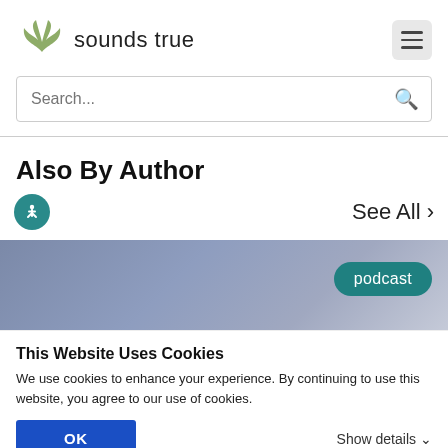[Figure (logo): Sounds True logo with stylized wing icon and text 'sounds true']
Search...
Also By Author
See All >
[Figure (screenshot): Podcast card with blue-grey gradient background and teal 'podcast' badge]
This Website Uses Cookies
We use cookies to enhance your experience. By continuing to use this website, you agree to our use of cookies.
OK
Show details